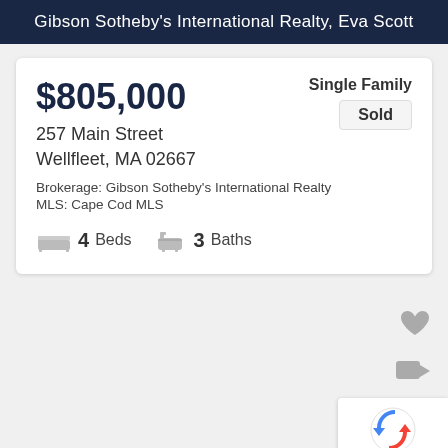Gibson Sotheby's International Realty, Eva Scott
$805,000
Single Family
Sold
257 Main Street
Wellfleet, MA 02667
Brokerage: Gibson Sotheby's International Realty
MLS: Cape Cod MLS
4 Beds   3 Baths
[Figure (other): Heart/favorite icon (gray)]
[Figure (other): Video camera icon (gray)]
[Figure (other): reCAPTCHA badge with Privacy and Terms text]